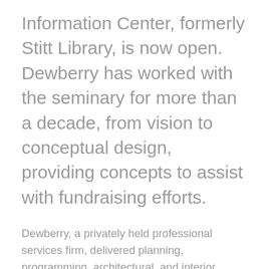Information Center, formerly Stitt Library, is now open. Dewberry has worked with the seminary for more than a decade, from vision to conceptual design, providing concepts to assist with fundraising efforts.
Dewberry, a privately held professional services firm, delivered planning, programming, architectural, and interior design services out of its Tulsa, Oklahoma, office for the project. An official opening ceremony will be held on May 13, 2022.
“It’s satisfying to see the critical needs identified by the staff and students brought to life,” says Dewberry Senior Project Manager Nathan Sauber, RA, LEED AP, DBIA, NCIDQ. “We…